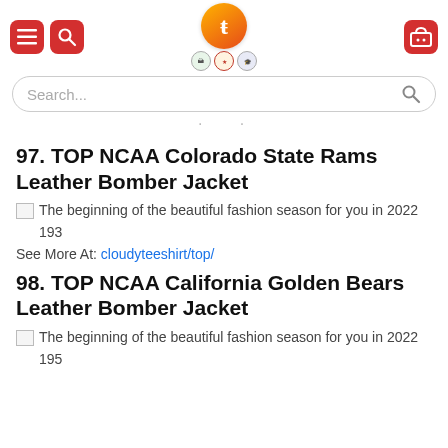[Figure (screenshot): Website header with red hamburger menu button, red search button, orange/red logo circle with 't' letter and quality badges below, and red cart button on right]
[Figure (screenshot): Search bar with 'Search...' placeholder text and magnifying glass icon]
· ·
97. TOP NCAA Colorado State Rams Leather Bomber Jacket
The beginning of the beautiful fashion season for you in 2022 193
See More At: cloudyteeshirt/top/
98. TOP NCAA California Golden Bears Leather Bomber Jacket
The beginning of the beautiful fashion season for you in 2022 195